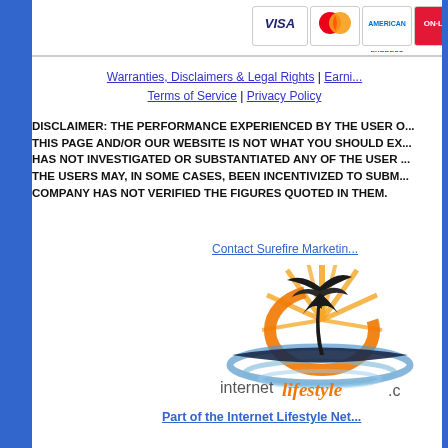[Figure (other): Payment method icons: Visa, MasterCard, American Express, Novus/Discover, PayPal]
Warranties, Disclaimers & Legal Rights | Earning... Terms of Service | Privacy Policy...
DISCLAIMER: THE PERFORMANCE EXPERIENCED BY THE USER ON THIS PAGE AND/OR OUR WEBSITE IS NOT WHAT YOU SHOULD EXPECT. HAS NOT INVESTIGATED OR SUBSTANTIATED ANY OF THE USER... THE USERS MAY, IN SOME CASES, BEEN INCENTIVIZED TO SUBMIT... COMPANY HAS NOT VERIFIED THE FIGURES QUOTED IN THEM.
[Figure (other): Contact Surefire Marketing link/image]
[Figure (logo): Internet Lifestyle Network logo with palm tree, sun rays, circular design and text 'internetlifestyle.c...']
Part of the Internet Lifestyle Net...